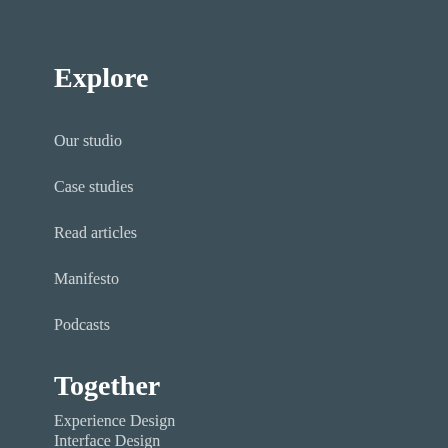Explore
Our studio
Case studies
Read articles
Manifesto
Podcasts
Together
Experience Design
Interface Design